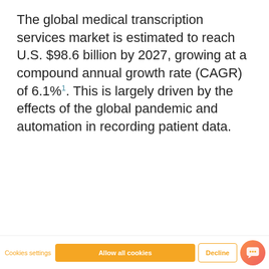The global medical transcription services market is estimated to reach U.S. $98.6 billion by 2027, growing at a compound annual growth rate (CAGR) of 6.1%¹. This is largely driven by the effects of the global pandemic and automation in recording patient data.
This website stores cookies on your computer. We use cookies to improve your experience on our site and to show you relevant advertising. Click 'allow all cookies' below to consent to the use of this technology across the pages you visit. For detailed information on our use of cookies, see our Privacy Policy.
If you decline, your information won't be tracked when you visit this website. A single cookie will be used in your browser to remember your preference not to be tracked.
Would you like to request a quote? I'm happy to help.